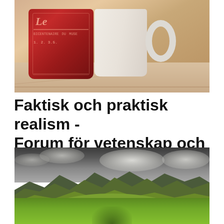[Figure (photo): A ceramic mug with a red stamp/label design, placed on a marble or light stone surface. The mug is white with red decorative stamp artwork featuring text including 'Le' and other letters.]
Faktisk och praktisk realism - Forum för vetenskap och
[Figure (photo): A dramatic landscape photograph of green rolling hills and mountains under a moody, overcast sky with dark storm clouds. The valley is lush green, and the mountains are mid-range with the sky taking up about a third of the image.]